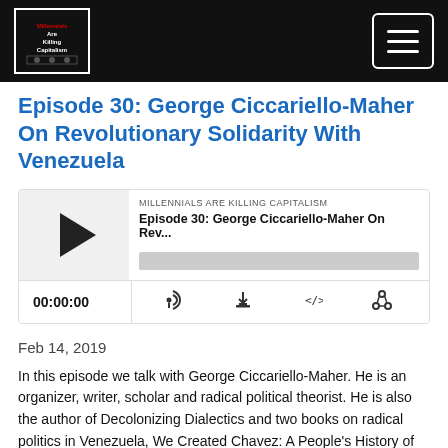Millennials Are Killing Capitalism — navigation bar with logo and hamburger menu
Episode 30: George Ciccariello-Maher On Revolutionary Solidarity With Venezuela
[Figure (screenshot): Podcast player widget showing play button, episode info 'MILLENNIALS ARE KILLING CAPITALISM / Episode 30: George Ciccariello-Maher On Rev...' with progress bar. Controls show timestamp 00:00:00, RSS icon, download icon, embed icon, and share icon.]
Feb 14, 2019
In this episode we talk with George Ciccariello-Maher. He is an organizer, writer, scholar and radical political theorist. He is also the author of Decolonizing Dialectics and two books on radical politics in Venezuela, We Created Chavez: A People's History of the Venezuelan Revolution, and Building The Commune: Radical Democracy in Venezuela.
We talk to Ciccariello-Maher about the current coup attempt in Venezuela, Juan Guaido, Nicolas Maduro, the opposition, and